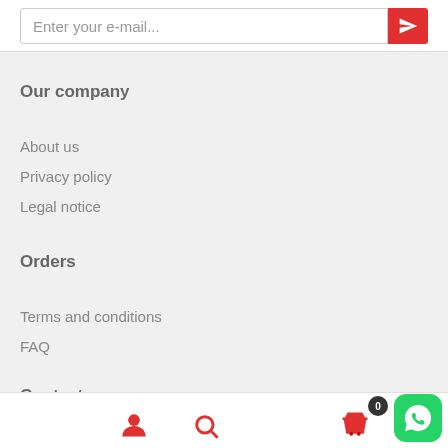Enter your e-mail...
Our company
About us
Privacy policy
Legal notice
Orders
Terms and conditions
FAQ
Contacts